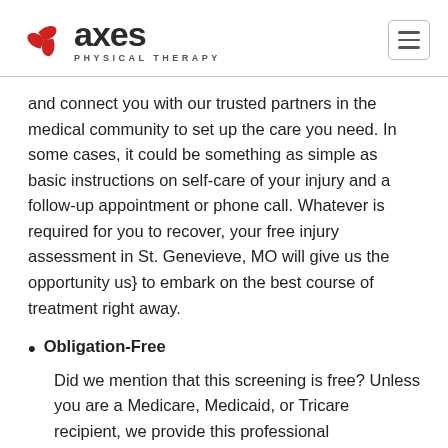[Figure (logo): Axes Physical Therapy logo with red pinwheel icon and dark text]
and connect you with our trusted partners in the medical community to set up the care you need. In some cases, it could be something as simple as basic instructions on self-care of your injury and a follow-up appointment or phone call. Whatever is required for you to recover, your free injury assessment in St. Genevieve, MO will give us the opportunity us} to embark on the best course of treatment right away.
Obligation-Free
Did we mention that this screening is free? Unless you are a Medicare, Medicaid, or Tricare recipient, we provide this professional